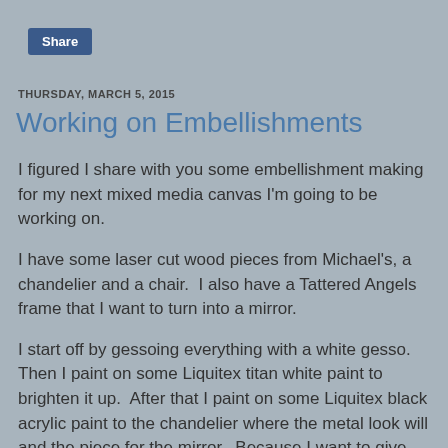Share
THURSDAY, MARCH 5, 2015
Working on Embellishments
I figured I share with you some embellishment making for my next mixed media canvas I'm going to be working on.
I have some laser cut wood pieces from Michael's, a chandelier and a chair.  I also have a Tattered Angels frame that I want to turn into a mirror.
I start off by gessoing everything with a white gesso.  Then I paint on some Liquitex titan white paint to brighten it up.  After that I paint on some Liquitex black acrylic paint to the chandelier where the metal look will and the piece for the mirror.  Because I want to give them an aged metal look the base needs to be dark.  I paint on a coat of Golden titan buff fluid acrylic on the chair to give it a softer look. Once the black base coat for the metal is dry I dry brush on some Blick